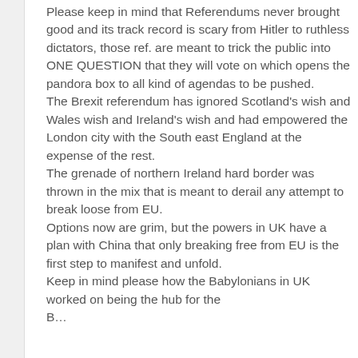Please keep in mind that Referendums never brought good and its track record is scary from Hitler to ruthless dictators, those ref. are meant to trick the public into ONE QUESTION that they will vote on which opens the pandora box to all kind of agendas to be pushed. The Brexit referendum has ignored Scotland's wish and Wales wish and Ireland's wish and had empowered the London city with the South east England at the expense of the rest. The grenade of northern Ireland hard border was thrown in the mix that is meant to derail any attempt to break loose from EU. Options now are grim, but the powers in UK have a plan with China that only breaking free from EU is the first step to manifest and unfold. Keep in mind please how the Babylonians in UK worked on being the hub for the Brexit high options as well as the...